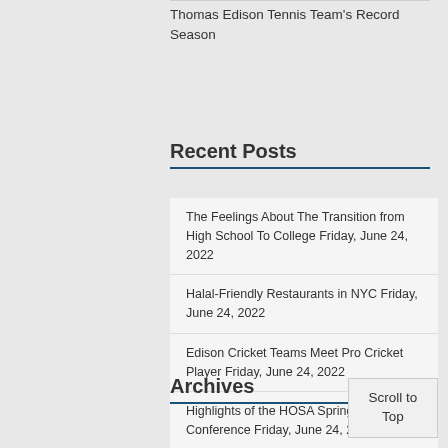Thomas Edison Tennis Team's Record Season
Recent Posts
The Feelings About The Transition from High School To College Friday, June 24, 2022
Halal-Friendly Restaurants in NYC Friday, June 24, 2022
Edison Cricket Teams Meet Pro Cricket Player Friday, June 24, 2022
Highlights of the HOSA Spring Leadership Conference Friday, June 24, 2022
Sweet Cats Cafe: The Go-To Place for Desserts Friday, June 24, 2022
Archives